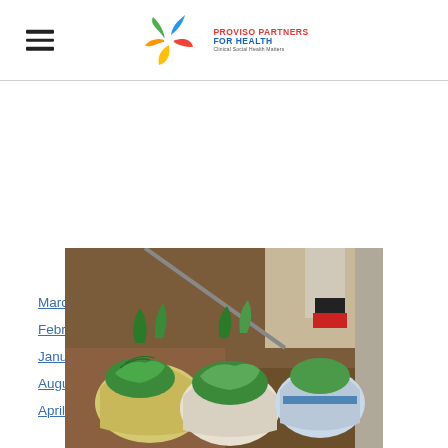Proviso Partners for Health
March 2016
February 2016
January 2016
August 2015
April 2015
[Figure (photo): Bags of fresh green leafy vegetables sitting on the ground outdoors]